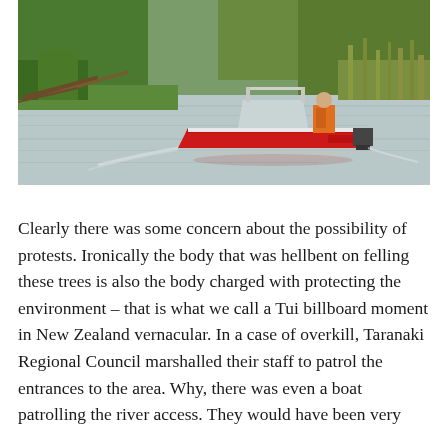[Figure (photo): A red motorboat on a river with a person in an orange high-visibility vest on board. The river banks are lined with green grass, reeds, and fallen tree branches.]
Clearly there was some concern about the possibility of protests. Ironically the body that was hellbent on felling these trees is also the body charged with protecting the environment – that is what we call a Tui billboard moment in New Zealand vernacular. In a case of overkill, Taranaki Regional Council marshalled their staff to patrol the entrances to the area. Why, there was even a boat patrolling the river access. They would have been very